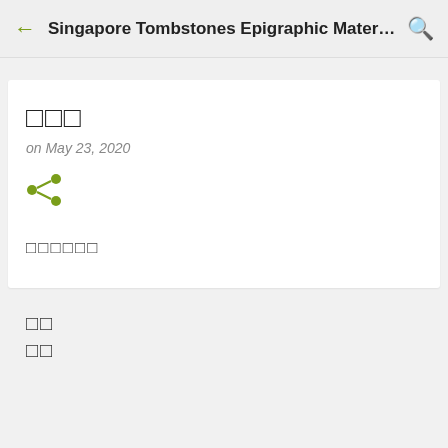Singapore Tombstones Epigraphic Material...
□□□
on May 23, 2020
[Figure (illustration): Share icon (green)]
□□□□□□
□□
□□